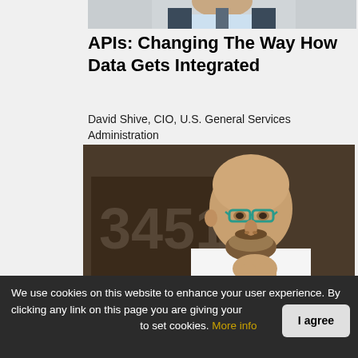[Figure (photo): Partial photo of a person in business attire, cropped at top of page]
APIs: Changing The Way How Data Gets Integrated
David Shive, CIO, U.S. General Services Administration
[Figure (photo): Photo of a bald man with teal glasses and a beard, wearing a white shirt, holding his chin thoughtfully. Background shows a sign with partial text '3451'.]
We use cookies on this website to enhance your user experience. By clicking any link on this page you are giving your consent to set cookies. More info